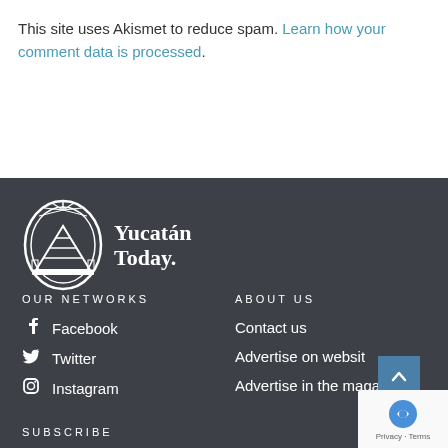This site uses Akismet to reduce spam. Learn how your comment data is processed.
[Figure (logo): Yucatán Today logo — oval emblem with Mayan pyramid/sun rays motif and text 'Yucatán Today']
OUR NETWORKS
ABOUT US
Facebook
Twitter
Instagram
Contact us
Advertise on website
Advertise in the magazine
SUBSCRIBE